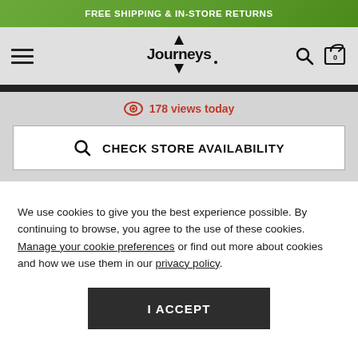FREE SHIPPING & IN-STORE RETURNS
[Figure (logo): Journeys logo with hamburger menu, search icon, and cart icon (0 items)]
178 views today
CHECK STORE AVAILABILITY
We use cookies to give you the best experience possible. By continuing to browse, you agree to the use of these cookies. Manage your cookie preferences or find out more about cookies and how we use them in our privacy policy.
I ACCEPT